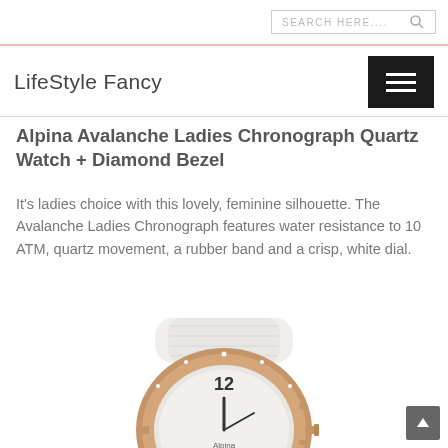SEARCH HERE....
LifeStyle Fancy
Alpina Avalanche Ladies Chronograph Quartz Watch + Diamond Bezel
It's ladies choice with this lovely, feminine silhouette. The Avalanche Ladies Chronograph features water resistance to 10 ATM, quartz movement, a rubber band and a crisp, white dial.
[Figure (photo): Photo of Alpina Avalanche Ladies Chronograph watch with white rubber band, rose gold case, diamond bezel, and white dial showing number 12 and Alpina branding]